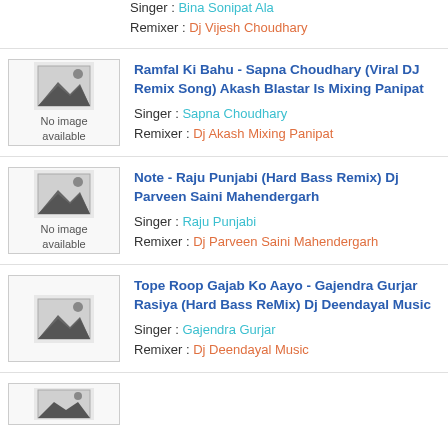Singer : Bina Sonipat Ala
Remixer : Dj Vijesh Choudhary
[Figure (illustration): No image available placeholder with mountain/landscape icon]
Ramfal Ki Bahu - Sapna Choudhary (Viral DJ Remix Song) Akash Blastar Is Mixing Panipat
Singer : Sapna Choudhary
Remixer : Dj Akash Mixing Panipat
[Figure (illustration): No image available placeholder with mountain/landscape icon]
Note - Raju Punjabi (Hard Bass Remix) Dj Parveen Saini Mahendergarh
Singer : Raju Punjabi
Remixer : Dj Parveen Saini Mahendergarh
[Figure (illustration): No image available placeholder thumbnail]
Tope Roop Gajab Ko Aayo - Gajendra Gurjar Rasiya (Hard Bass ReMix) Dj Deendayal Music
Singer : Gajendra Gurjar
Remixer : Dj Deendayal Music
[Figure (illustration): Partial thumbnail at bottom of page]